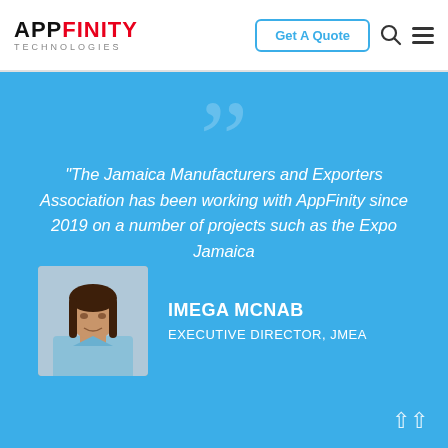APPFINITY TECHNOLOGIES | Get A Quote
“The Jamaica Manufacturers and Exporters Association has been working with AppFinity since 2019 on a number of projects such as the Expo Jamaica
[Figure (photo): Portrait photo of Imega McNab, a woman with braids wearing a light blue top]
IMEGA MCNAB
EXECUTIVE DIRECTOR, JMEA